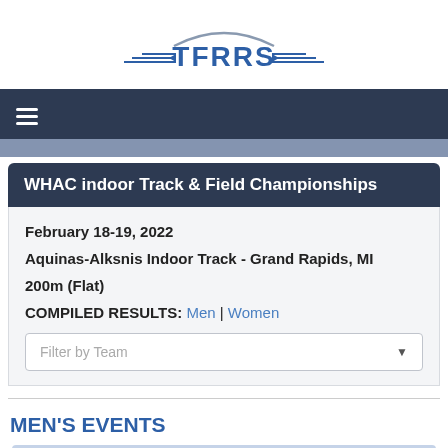[Figure (logo): TFRRS logo with wing decorations and arc above text]
WHAC indoor Track & Field Championships
February 18-19, 2022
Aquinas-Alksnis Indoor Track - Grand Rapids, MI
200m (Flat)
COMPILED RESULTS: Men | Women
Filter by Team
MEN'S EVENTS
EVENT